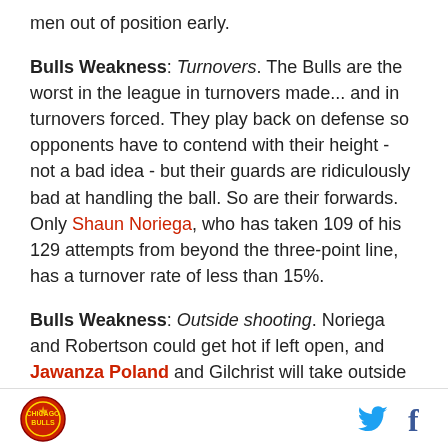men out of position early.
Bulls Weakness: Turnovers. The Bulls are the worst in the league in turnovers made... and in turnovers forced. They play back on defense so opponents have to contend with their height - not a bad idea - but their guards are ridiculously bad at handling the ball. So are their forwards. Only Shaun Noriega, who has taken 109 of his 129 attempts from beyond the three-point line, has a turnover rate of less than 15%.
Bulls Weakness: Outside shooting. Noriega and Robertson could get hot if left open, and Jawanza Poland and Gilchrist will take outside shots, but as a team, they have been woeful shooting from the